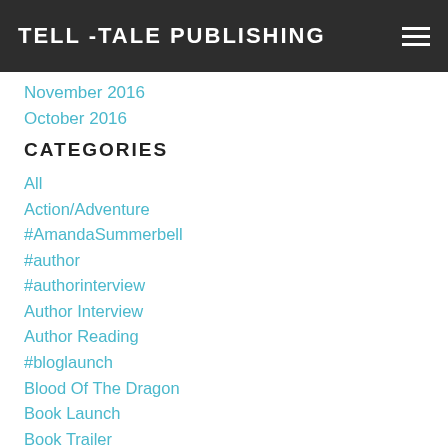TELL -TALE PUBLISHING
November 2016
October 2016
CATEGORIES
All
Action/Adventure
#AmandaSummerbell
#author
#authorinterview
Author Interview
Author Reading
#bloglaunch
Blood Of The Dragon
Book Launch
Book Trailer
Castles & Cradles
China Town